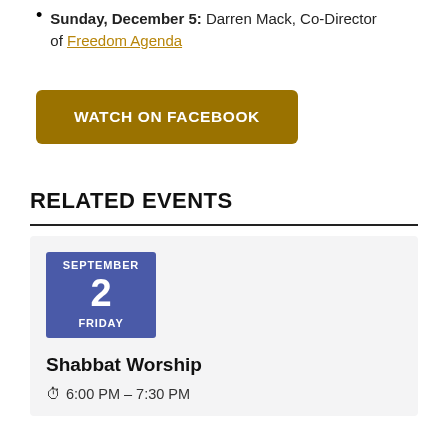Sunday, December 5: Darren Mack, Co-Director of Freedom Agenda
WATCH ON FACEBOOK
RELATED EVENTS
SEPTEMBER 2 FRIDAY
Shabbat Worship
6:00 PM – 7:30 PM